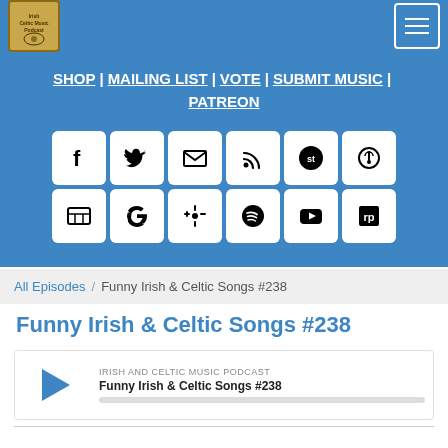Irish And Celtic Music Podcast - navigation bar with logo and hamburger menu
SHOP | MAILING LIST | VOTE | SUBMIT MUSIC | PATREON
[Figure (infographic): Social media icon buttons grid: Facebook, Twitter, Email, RSS, Stitcher, Podcasts, second row: unknown, Google, Google Podcasts, Spotify, YouTube, RadioPublic]
All Episodes / Funny Irish & Celtic Songs #238
Funny Irish & Celtic Songs #238
[Figure (other): Podcast player widget showing play button, label IRISH AND CELTIC MUSIC PODCAST, episode title Funny Irish & Celtic Songs #238, and a progress/scrub bar]